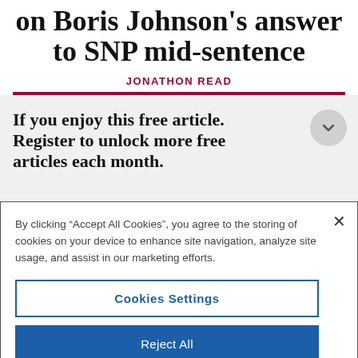on Boris Johnson's answer to SNP mid-sentence
JONATHON READ
If you enjoy this free article. Register to unlock more free articles each month.
By clicking “Accept All Cookies”, you agree to the storing of cookies on your device to enhance site navigation, analyze site usage, and assist in our marketing efforts.
Cookies Settings
Reject All